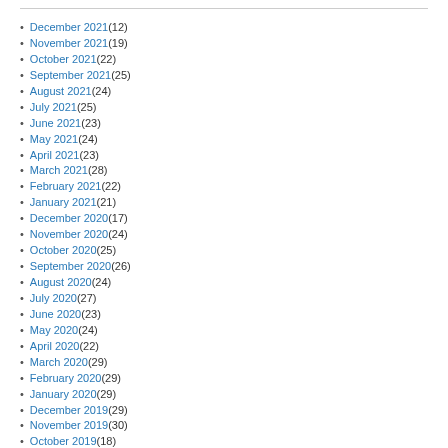December 2021 (12)
November 2021 (19)
October 2021 (22)
September 2021 (25)
August 2021 (24)
July 2021 (25)
June 2021 (23)
May 2021 (24)
April 2021 (23)
March 2021 (28)
February 2021 (22)
January 2021 (21)
December 2020 (17)
November 2020 (24)
October 2020 (25)
September 2020 (26)
August 2020 (24)
July 2020 (27)
June 2020 (23)
May 2020 (24)
April 2020 (22)
March 2020 (29)
February 2020 (29)
January 2020 (29)
December 2019 (29)
November 2019 (30)
October 2019 (18)
September 2019 (28)
August 2019 (31)
July 2019 (31)
June 2019 (30)
May 2019 (31)
April 2019 (30)